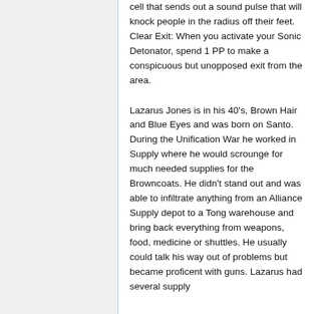cell that sends out a sound pulse that will knock people in the radius off their feet. Clear Exit: When you activate your Sonic Detonator, spend 1 PP to make a conspicuous but unopposed exit from the area.
Lazarus Jones is in his 40's, Brown Hair and Blue Eyes and was born on Santo. During the Unification War he worked in Supply where he would scrounge for much needed supplies for the Browncoats. He didn't stand out and was able to infiltrate anything from an Alliance Supply depot to a Tong warehouse and bring back everything from weapons, food, medicine or shuttles. He usually could talk his way out of problems but became proficent with guns. Lazarus had several supply